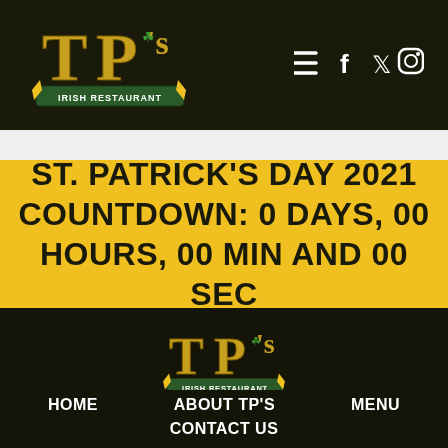[Figure (logo): TP's Irish Restaurant logo - golden letters TP's with shamrock, on dark background with banner reading IRISH RESTAURANT]
[Figure (infographic): Navigation icons: hamburger menu, Facebook f, Twitter bird, Instagram camera]
ST. PATRICK'S DAY 2021 COUNTDOWN: 0 DAYS, 00 HOURS, 00 MIN AND 00 SEC
[Figure (logo): TP's Irish Restaurant logo - golden letters TP's with shamrock, on dark background]
TP's Irish Restaurant and Sports Pub
916 Panorama Trail Rochester NY 14625 | Phone: (585) 385-4160
HOME
ABOUT TP'S
MENU
CONTACT US